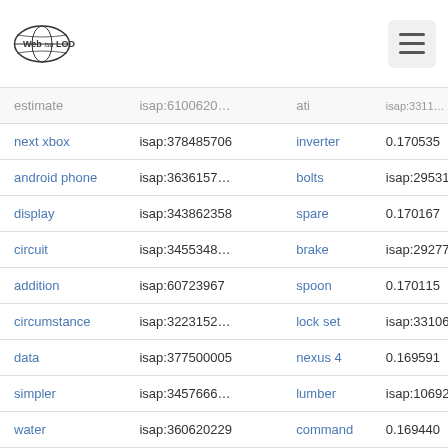Web isa LOD — navigation header
| Hypernym | ISAP (left) | Concept | Score | ISAP (right) |
| --- | --- | --- | --- | --- |
| estimate | isap:6100620… | ati |  | isap:3311… |
| next xbox | isap:378485706 | inverter | 0.170535 | isap:60591… |
| android phone | isap:3636157… | bolts |  | isap:29531… |
| display | isap:343862358 | spare | 0.170167 | isap:29364… |
| circuit | isap:3455348… | brake |  | isap:29277… |
| addition | isap:60723967 | spoon | 0.170115 | isap:29609… |
| circumstance | isap:3223152… | lock set |  | isap:33106… |
| data | isap:377500005 | nexus 4 | 0.169591 | isap:29651… |
| simpler | isap:3457666… | lumber |  | isap:10692… |
| water | isap:360620229 | command | 0.169440 | isap:45955… |
|  |  | magnet |  | isap:10419… |